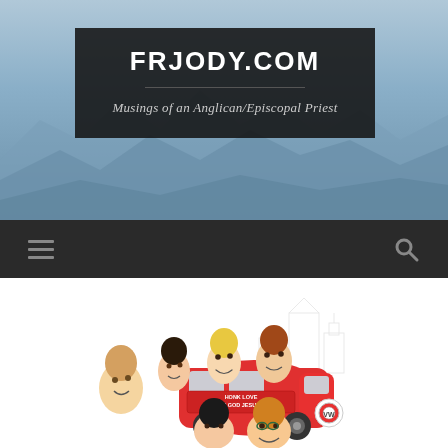[Figure (screenshot): Website header banner with mountain/sky background. Dark semi-transparent box contains site title FRJODY.COM and subtitle. Navigation bar below with hamburger menu and search icon. Cartoon illustration at bottom showing caricature characters near a red VW van with 'HONK LOVE N GOD JESUS' text.]
FRJODY.COM
Musings of an Anglican/Episcopal Priest